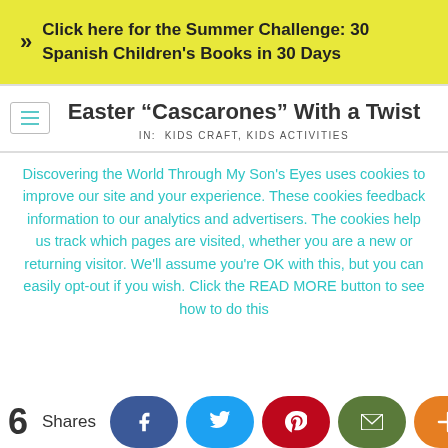Click here for the Summer Challenge: 30 Spanish Children's Books in 30 Days
Easter “Cascarones” With a Twist
IN:  KIDS CRAFT, KIDS ACTIVITIES
Discovering the World Through My Son's Eyes uses cookies to improve our site and your experience. These cookies feedback information to our analytics and advertisers. The cookies help us track which pages are visited, whether you are a new or returning visitor. We'll assume you're OK with this, but you can easily opt-out if you wish. Click the READ MORE button to see how to do this
6 Shares